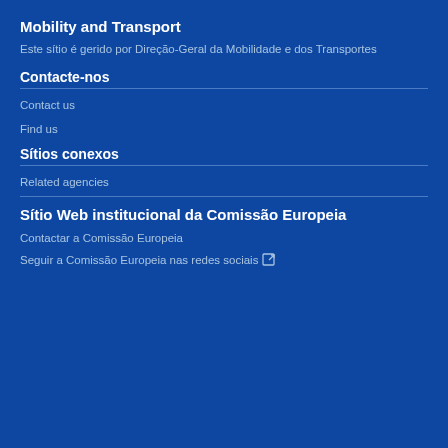Mobility and Transport
Este sítio é gerido por Direção-Geral da Mobilidade e dos Transportes
Contacte-nos
Contact us
Find us
Sítios conexos
Related agencies
Sítio Web institucional da Comissão Europeia
Contactar a Comissão Europeia
Seguir a Comissão Europeia nas redes sociais [external link]